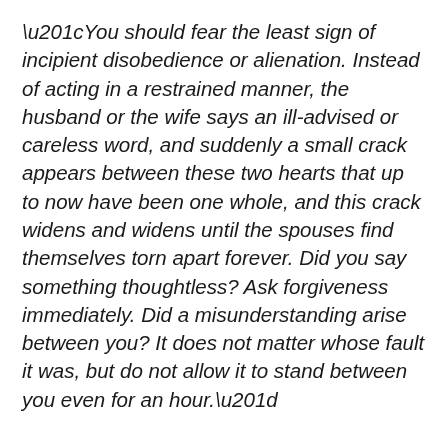“You should fear the least sign of incipient disobedience or alienation. Instead of acting in a restrained manner, the husband or the wife says an ill-advised or careless word, and suddenly a small crack appears between these two hearts that up to now have been one whole, and this crack widens and widens until the spouses find themselves torn apart forever. Did you say something thoughtless? Ask forgiveness immediately. Did a misunderstanding arise between you? It does not matter whose fault it was, but do not allow it to stand between you even for an hour.”
“Refrain from quarreling. Do not go to sleep with a feeling of anger in your heart. There should be no place for pride in family life. You should be aware of the sense of feeling of…